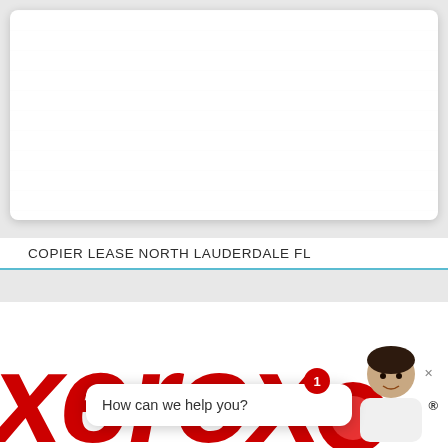[Figure (screenshot): White rounded card/panel on gray background, upper portion of page, empty white area]
COPIER LEASE NORTH LAUDERDALE FL
[Figure (screenshot): Xerox website bottom section showing Xerox logo in large red italic text, a chat widget with a notification badge showing '1', a chat bubble saying 'How can we help you?', a close button 'x', a smiling person photo, red Xerox brand shape, and registered trademark symbol]